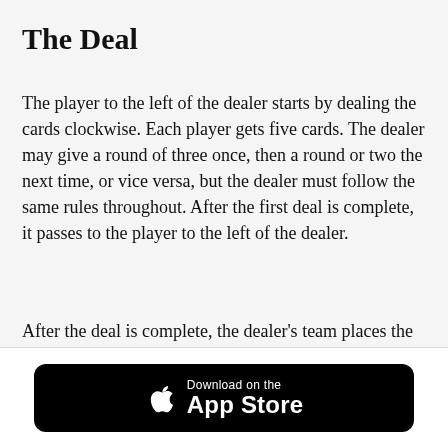The Deal
The player to the left of the dealer starts by dealing the cards clockwise. Each player gets five cards. The dealer may give a round of three once, then a round or two the next time, or vice versa, but the dealer must follow the same rules throughout. After the first deal is complete, it passes to the player to the left of the dealer.
After the deal is complete, the dealer’s team places the remaining cards in the middle while placing the top card as a face-up card. If any player accepts
[Figure (other): Download on the App Store button — black rounded rectangle with Apple logo and text 'Download on the App Store']